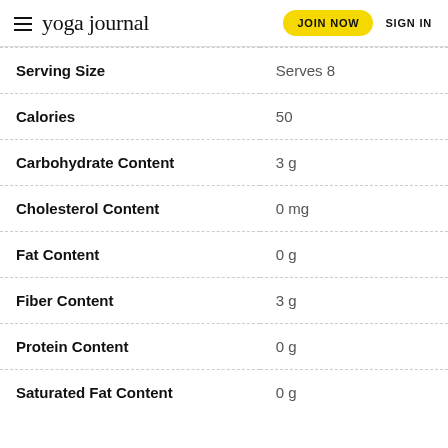yoga journal | JOIN NOW | SIGN IN
| Nutrient | Value |
| --- | --- |
| Serving Size | Serves 8 |
| Calories | 50 |
| Carbohydrate Content | 3 g |
| Cholesterol Content | 0 mg |
| Fat Content | 0 g |
| Fiber Content | 3 g |
| Protein Content | 0 g |
| Saturated Fat Content | 0 g |